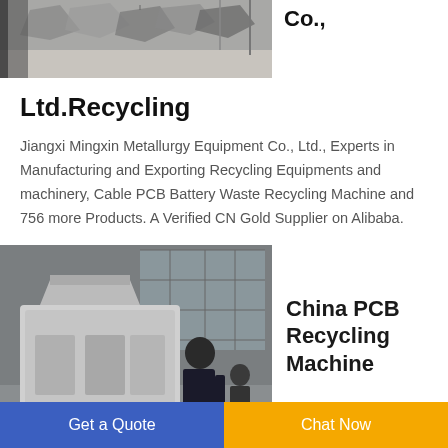[Figure (photo): Photo of metal scrap/recycling machinery in a warehouse setting, shown at top of page]
Co.,
Ltd.Recycling
Jiangxi Mingxin Metallurgy Equipment Co., Ltd., Experts in Manufacturing and Exporting Recycling Equipments and machinery, Cable PCB Battery Waste Recycling Machine and 756 more Products. A Verified CN Gold Supplier on Alibaba.
[Figure (photo): Photo of PCB recycling machine with worker operating industrial shredder equipment]
China PCB Recycling Machine
Get a Quote | Chat Now